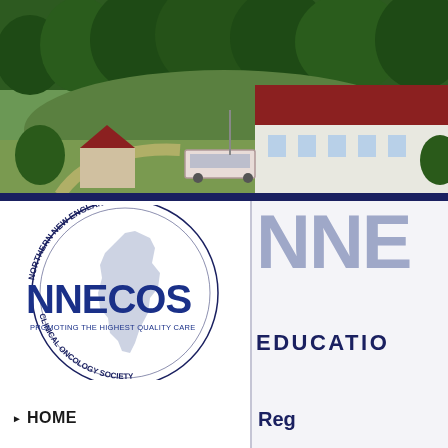[Figure (photo): Aerial/landscape photo showing a New England coastal scene with green trees in the background, a hillside, buildings with red roofs (white colonial-style houses), a trolley/bus, and green grounds. Dark blue dividing bar at bottom of photo.]
[Figure (logo): NNECOS logo: Northern New England Clinical Oncology Society circular logo with text 'NORTHERN NEW ENGLAND' along top arc, 'CLINICAL ONCOLOGY SOCIETY' along bottom arc, 'NNECOS' in large bold blue letters, 'PROMOTING THE HIGHEST QUALITY CARE' below, with a light blue silhouette of Maine state in background.]
HOME
NNE
EDUCATION
Reg